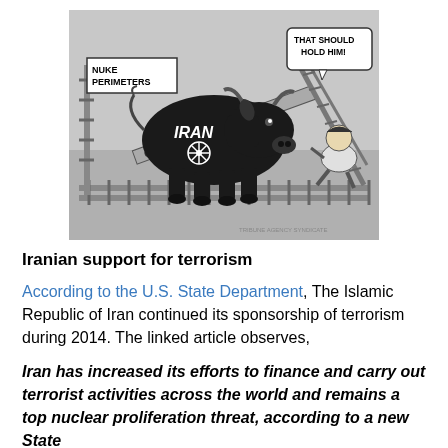[Figure (illustration): Political cartoon in black and white showing a large black bull labeled 'IRAN' with a nuclear symbol on its side, standing inside a fenced corral labeled 'OBAMA LEGACY'. A sign reads 'NUKE PERIMETERS'. A figure crouching at the right side has a speech bubble saying 'THAT SHOULD HOLD HIM!'. The cartoon is drawn with crosshatch fencing around the bull.]
Iranian support for terrorism
According to the U.S. State Department, The Islamic Republic of Iran continued its sponsorship of terrorism during 2014. The linked article observes,
Iran has increased its efforts to finance and carry out terrorist activities across the world and remains a top nuclear proliferation threat, according to a new State